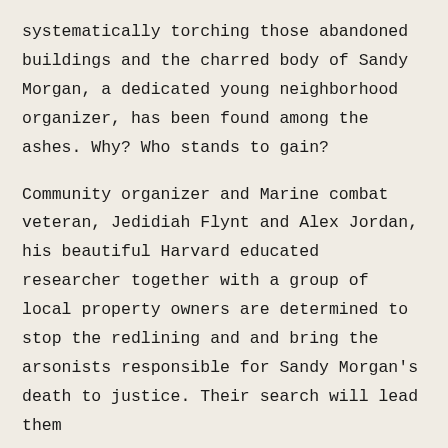systematically torching those abandoned buildings and the charred body of Sandy Morgan, a dedicated young neighborhood organizer, has been found among the ashes. Why? Who stands to gain?

Community organizer and Marine combat veteran, Jedidiah Flynt and Alex Jordan, his beautiful Harvard educated researcher together with a group of local property owners are determined to stop the redlining and and bring the arsonists responsible for Sandy Morgan's death to justice. Their search will lead them